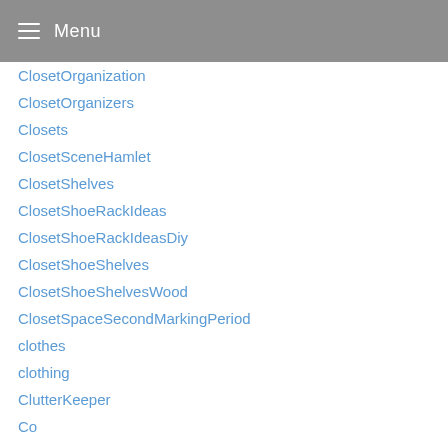Menu
ClosetOrganization
ClosetOrganizers
Closets
ClosetSceneHamlet
ClosetShelves
ClosetShoeRackIdeas
ClosetShoeRackIdeasDiy
ClosetShoeShelves
ClosetShoeShelvesWood
ClosetSpaceSecondMarkingPeriod
clothes
clothing
ClutterKeeper
Co
Coastal
CoastalInteriors
Coathanger